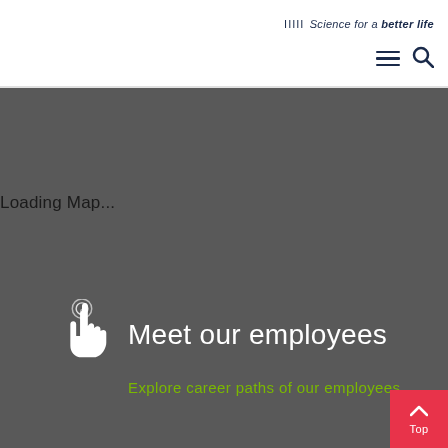IIIII Science for a better life
Loading Map...
[Figure (illustration): White hand/pointer icon with touch indicator rings at fingertip]
Meet our employees
Explore career paths of our employees
Top